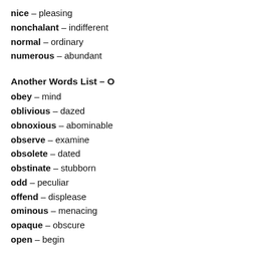nice – pleasing
nonchalant – indifferent
normal – ordinary
numerous – abundant
Another Words List – O
obey – mind
oblivious – dazed
obnoxious – abominable
observe – examine
obsolete – dated
obstinate – stubborn
odd – peculiar
offend – displease
ominous – menacing
opaque – obscure
open – begin